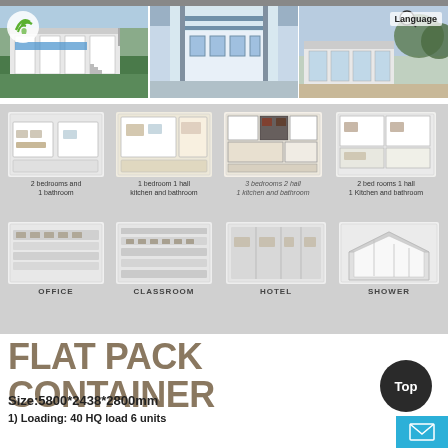[Figure (photo): Three photos: exterior of modular container building with construction crane, interior corridor of container building, outdoor patio/deck area. Green leaf logo top-left, Language button top-right.]
[Figure (infographic): 8 flat pack container room layout options on gray background: 2 bedrooms and 1 bathroom, 1 bedroom 1 hall kitchen and bathroom, 3 bedrooms 2 hall 1 kitchen and bathroom, 2 bed rooms 1 hall 1 Kitchen and bathroom, OFFICE, CLASSROOM, HOTEL, SHOWER]
2 bedrooms and 1 bathroom
1 bedroom 1 hall kitchen and bathroom
3 bedrooms 2 hall 1 kitchen and bathroom
2 bed rooms 1 hall 1 Kitchen and bathroom
OFFICE
CLASSROOM
HOTEL
SHOWER
FLAT PACK CONTAINER
Size:5800*2438*2800mm
1) Loading: 40 HQ load 6 units